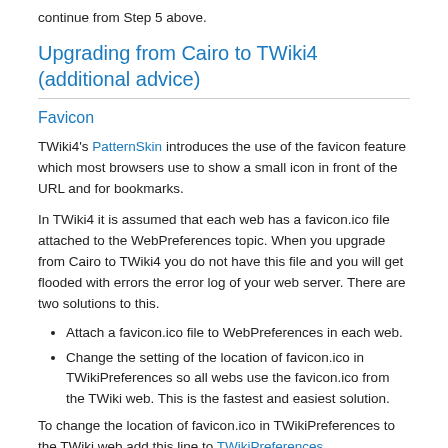continue from Step 5 above.
Upgrading from Cairo to TWiki4 (additional advice)
Favicon
TWiki4's PatternSkin introduces the use of the favicon feature which most browsers use to show a small icon in front of the URL and for bookmarks.
In TWiki4 it is assumed that each web has a favicon.ico file attached to the WebPreferences topic. When you upgrade from Cairo to TWiki4 you do not have this file and you will get flooded with errors the error log of your web server. There are two solutions to this.
Attach a favicon.ico file to WebPreferences in each web.
Change the setting of the location of favicon.ico in TWikiPreferences so all webs use the favicon.ico from the TWiki web. This is the fastest and easiest solution.
To change the location of favicon.ico in TWikiPreferences to the TWiki web add this line to TWikiPreferences